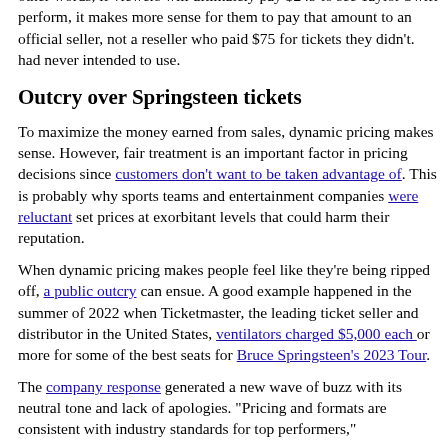uses dynamic pricing, at least ideally, more ticket revenue is flowing into the pockets of those responsible for the events. In other words, if viewers will ultimately pay $249 to see Taylor Swift perform, it makes more sense for them to pay that amount to an official seller, not a reseller who paid $75 for tickets they didn't had never intended to use.
Outcry over Springsteen tickets
To maximize the money earned from sales, dynamic pricing makes sense. However, fair treatment is an important factor in pricing decisions since customers don't want to be taken advantage of. This is probably why sports teams and entertainment companies were reluctant set prices at exorbitant levels that could harm their reputation.
When dynamic pricing makes people feel like they're being ripped off, a public outcry can ensue. A good example happened in the summer of 2022 when Ticketmaster, the leading ticket seller and distributor in the United States, ventilators charged $5,000 each or more for some of the best seats for Bruce Springsteen's 2023 Tour.
The company response generated a new wave of buzz with its neutral tone and lack of apologies. "Pricing and formats are consistent with industry standards for top performers,"